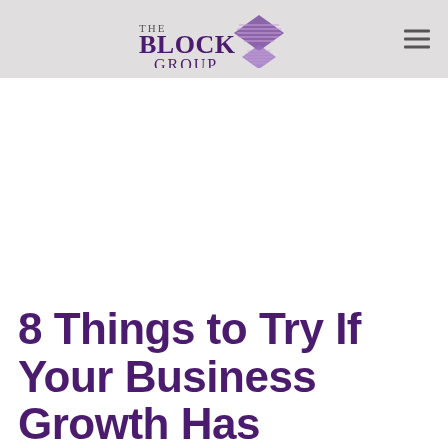The Block Group
8 Things to Try If Your Business Growth Has